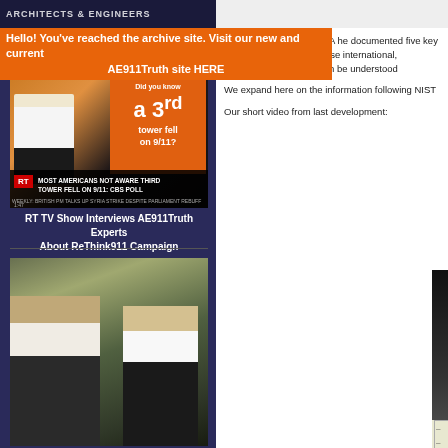ARCHITECTS
Hello! You've reached the archive site. Visit our new and current AE911Truth site HERE
[Figure (screenshot): RT TV news screenshot showing a man pointing at an orange billboard sign reading 'Did you know a 3rd tower fell on 9/11?' with lower bar text 'MOST AMERICANS NOT AWARE THIRD TOWER FELL ON 9/11: CBS POLL']
RT TV Show Interviews AE911Truth Experts About ReThink911 Campaign
[Figure (photo): Two men standing outdoors in an urban environment, one in casual clothes and one in a suit]
In the October Blueprint, A he documented five key m August had previously se international, independent analyses can be understood We expand here on the information following NIST Our short video from last development:
[Figure (screenshot): NIST video thumbnail showing purple circle with letter n and NIST label, with engineering diagram below]